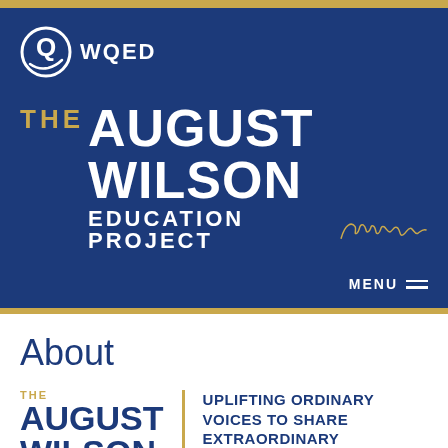[Figure (logo): WQED logo with circular Q emblem and WQED text in white on dark blue background]
THE AUGUST WILSON EDUCATION PROJECT
MENU
About
[Figure (logo): The August Wilson Education Project logo in navy and gold with tagline: UPLIFTING ORDINARY VOICES TO SHARE EXTRAORDINARY]